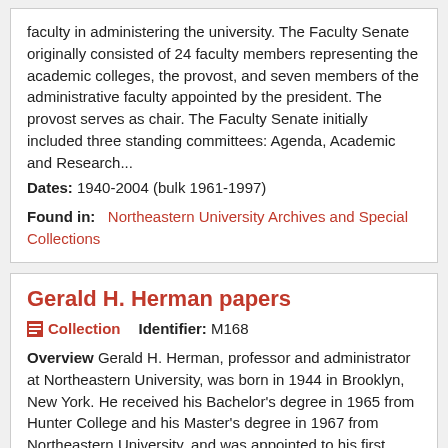faculty in administering the university. The Faculty Senate originally consisted of 24 faculty members representing the academic colleges, the provost, and seven members of the administrative faculty appointed by the president. The provost serves as chair. The Faculty Senate initially included three standing committees: Agenda, Academic and Research...
Dates: 1940-2004 (bulk 1961-1997)
Found in:   Northeastern University Archives and Special Collections
Gerald H. Herman papers
Collection   Identifier: M168
Overview Gerald H. Herman, professor and administrator at Northeastern University, was born in 1944 in Brooklyn, New York. He received his Bachelor's degree in 1965 from Hunter College and his Master's degree in 1967 from Northeastern University, and was appointed to his first teaching position at Northeastern in 1967 as an instructor in